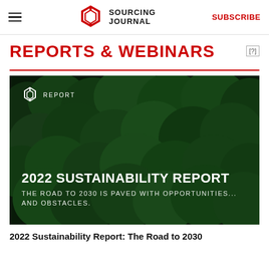SOURCING JOURNAL | SUBSCRIBE
REPORTS & WEBINARS
[Figure (photo): Dark aerial view of dense green forest canopy overlaid with text '2022 SUSTAINABILITY REPORT' and subtitle 'THE ROAD TO 2030 IS PAVED WITH OPPORTUNITIES... AND OBSTACLES.' with a Sourcing Journal REPORT logo in top-left corner]
2022 Sustainability Report: The Road to 2030